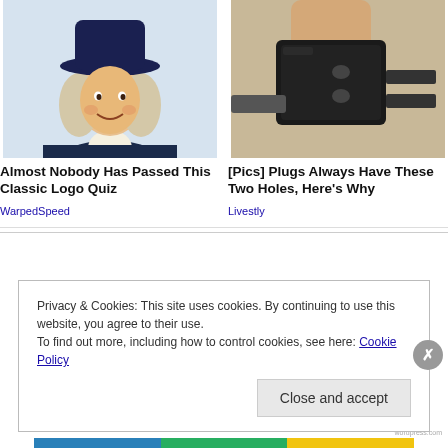[Figure (photo): Quaker Oats man mascot illustration - man with white wig, black hat and colonial clothing, smiling]
Almost Nobody Has Passed This Classic Logo Quiz
WarpedSpeed
[Figure (photo): Close-up photo of a black electrical plug being held by fingers, showing two prongs against a concrete background]
[Pics] Plugs Always Have These Two Holes, Here's Why
Livestly
Privacy & Cookies: This site uses cookies. By continuing to use this website, you agree to their use.
To find out more, including how to control cookies, see here: Cookie Policy